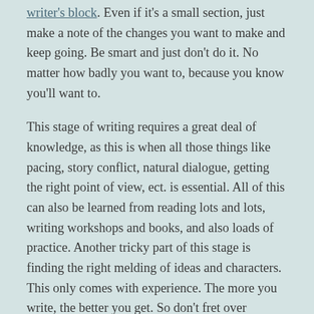writer's block. Even if it's a small section, just make a note of the changes you want to make and keep going. Be smart and just don't do it. No matter how badly you want to, because you know you'll want to.
This stage of writing requires a great deal of knowledge, as this is when all those things like pacing, story conflict, natural dialogue, getting the right point of view, ect. is essential. All of this can also be learned from reading lots and lots, writing workshops and books, and also loads of practice. Another tricky part of this stage is finding the right melding of ideas and characters. This only comes with experience. The more you write, the better you get. So don't fret over rewriting a scene ten or twenty times. Sometimes that is what it takes, and other times it's a matter of deciding to move on to the next